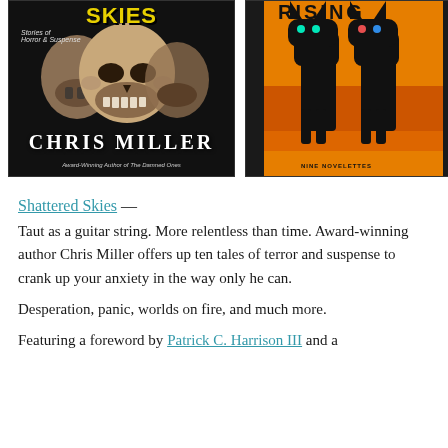[Figure (illustration): Two book covers side by side. Left: 'Shattered Skies - Stories of Horror & Suspense' by Chris Miller showing skulls on black background. Right: 'Rising' showing silhouettes of two black dogs with glowing eyes on orange/yellow background with 'Nine Novelettes' text.]
Shattered Skies —
Taut as a guitar string. More relentless than time. Award-winning author Chris Miller offers up ten tales of terror and suspense to crank up your anxiety in the way only he can.
Desperation, panic, worlds on fire, and much more.
Featuring a foreword by Patrick C. Harrison III and a